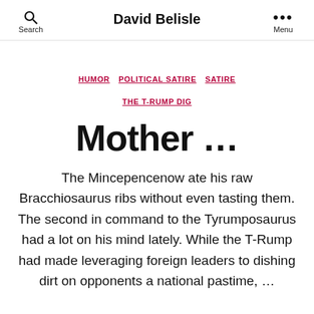David Belisle
HUMOR  POLITICAL SATIRE  SATIRE  THE T-RUMP DIG
Mother …
The Mincepencenow ate his raw Bracchiosaurus ribs without even tasting them. The second in command to the Tyrumposaurus had a lot on his mind lately. While the T-Rump had made leveraging foreign leaders to dishing dirt on opponents a national pastime, …